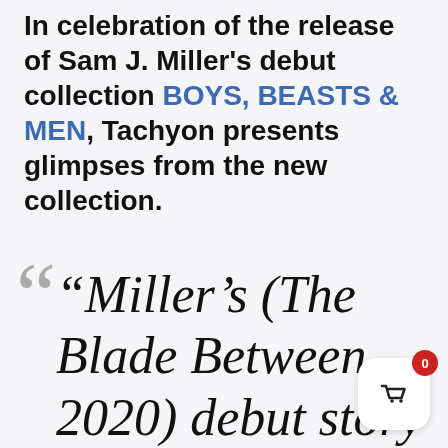In celebration of the release of Sam J. Miller's debut collection BOYS, BEASTS & MEN, Tachyon presents glimpses from the new collection.
“Miller’s (The Blade Between, 2020) debut story